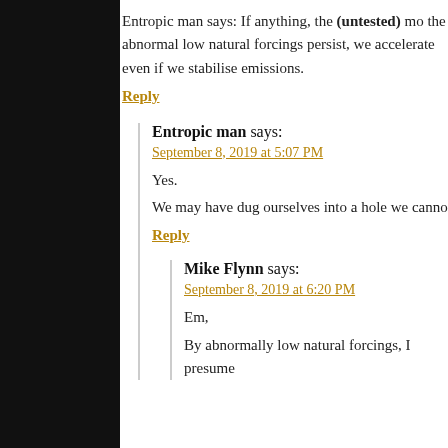Entropic man says: If anything, the (untested) mo the abnormally low natural forcings persist, we accelerate even if we stabilise emissions.
Reply
Entropic man says:
September 8, 2019 at 5:07 PM
Yes.
We may have dug ourselves into a hole we canno
Reply
Mike Flynn says:
September 8, 2019 at 6:20 PM
Em,
By abnormally low natural forcings, I presume